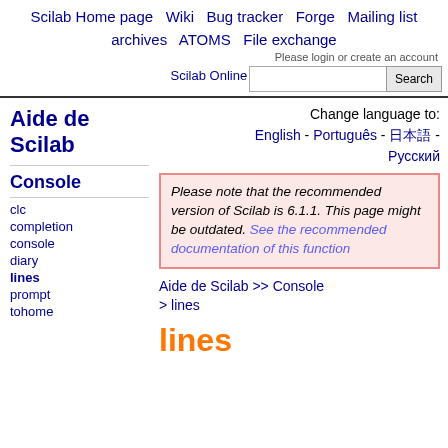Scilab Home page   Wiki   Bug tracker   Forge   Mailing list archives   ATOMS   File exchange
Please login or create an account
Scilab Online Help
Change language to: English - Português - 日本語 - Русский
Aide de Scilab
Console
clc
completion
console
diary
lines
prompt
tohome
Please note that the recommended version of Scilab is 6.1.1. This page might be outdated. See the recommended documentation of this function
Aide de Scilab >> Console > lines
lines